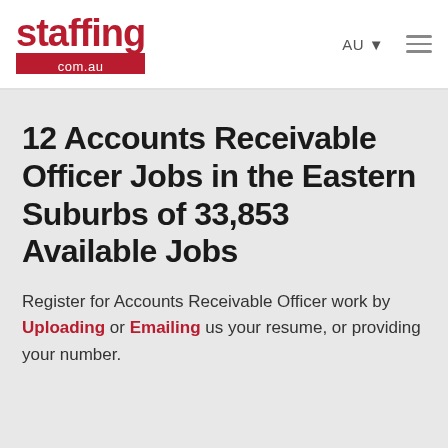staffing com.au | AU | menu
12 Accounts Receivable Officer Jobs in the Eastern Suburbs of 33,853 Available Jobs
Register for Accounts Receivable Officer work by Uploading or Emailing us your resume, or providing your number.